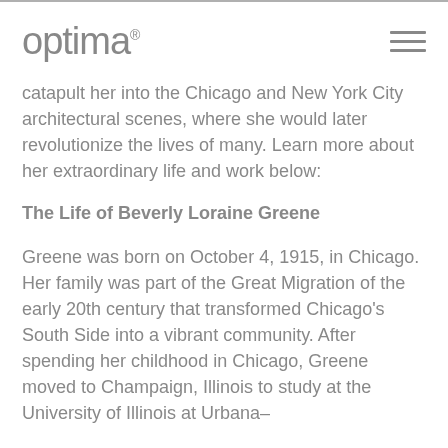optima
catapult her into the Chicago and New York City architectural scenes, where she would later revolutionize the lives of many. Learn more about her extraordinary life and work below:
The Life of Beverly Loraine Greene
Greene was born on October 4, 1915, in Chicago. Her family was part of the Great Migration of the early 20th century that transformed Chicago's South Side into a vibrant community. After spending her childhood in Chicago, Greene moved to Champaign, Illinois to study at the University of Illinois at Urbana–